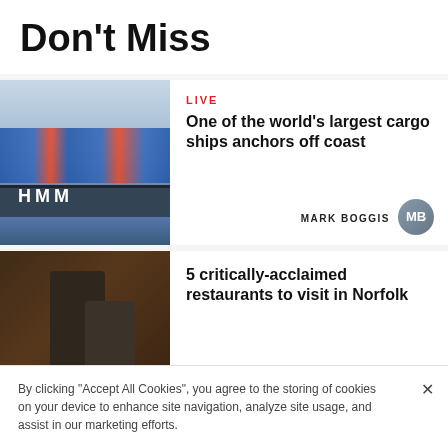Don't Miss
[Figure (photo): HMM cargo ship anchored near coast, containers visible on deck]
LIVE
One of the world's largest cargo ships anchors off coast
MARK BOGGIS
[Figure (photo): Two people in a restaurant, man in apron standing behind woman seated at table with wine glasses]
5 critically-acclaimed restaurants to visit in Norfolk
LOUISA BALDWIN
By clicking "Accept All Cookies", you agree to the storing of cookies on your device to enhance site navigation, analyze site usage, and assist in our marketing efforts.